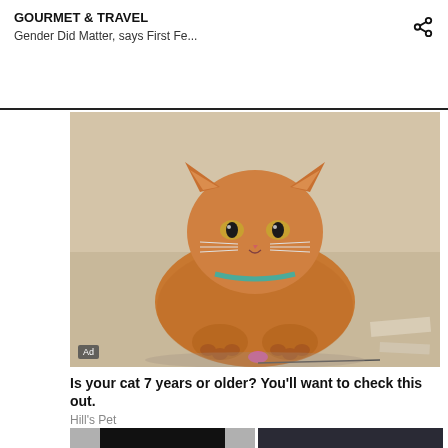GOURMET & TRAVEL
Gender Did Matter, says First Fe...
[Figure (photo): Orange tabby cat lying on floor looking at camera, with a small pink toy, wearing a teal collar. Ad badge overlay in bottom left corner.]
Is your cat 7 years or older? You'll want to check this out.
Hill's Pet
[Figure (photo): Portrait of an Asian man in a black turtleneck against a gray background.]
[Figure (photo): Close-up of a luxury watch mechanism with metallic skeleton dial showing tourbillon, on dark background.]